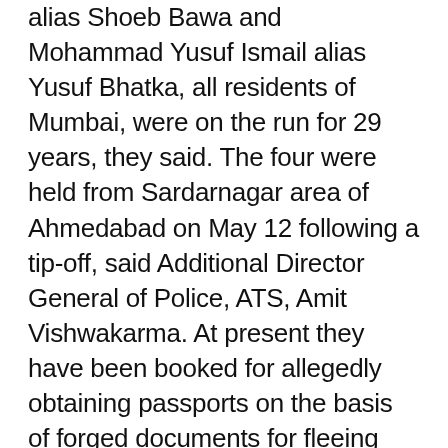alias Shoeb Bawa and Mohammad Yusuf Ismail alias Yusuf Bhatka, all residents of Mumbai, were on the run for 29 years, they said. The four were held from Sardarnagar area of Ahmedabad on May 12 following a tip-off, said Additional Director General of Police, ATS, Amit Vishwakarma. At present they have been booked for allegedly obtaining passports on the basis of forged documents for fleeing the country in 1993, and later they would be handed over to the Central Bureau of Investigation (CBI) in the blasts case, said another official.